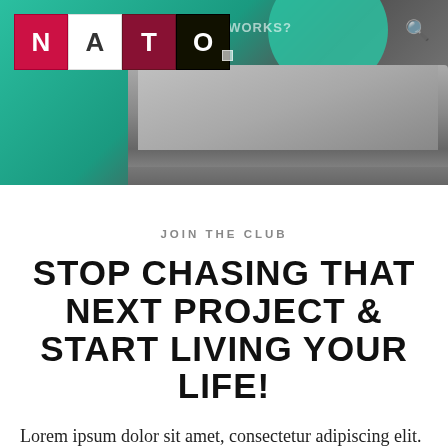[Figure (photo): Website header banner with teal/green background, NATO logo in top-left with colored letter blocks (N=red, A=white, T=dark red, O=black), laptop image on gray surface in lower right, decorative teal circle top right, HOW IT WORKS? text and search icon in header area.]
JOIN THE CLUB
STOP CHASING THAT NEXT PROJECT & START LIVING YOUR LIFE!
Lorem ipsum dolor sit amet, consectetur adipiscing elit. Ut elit tellus, luctus nec